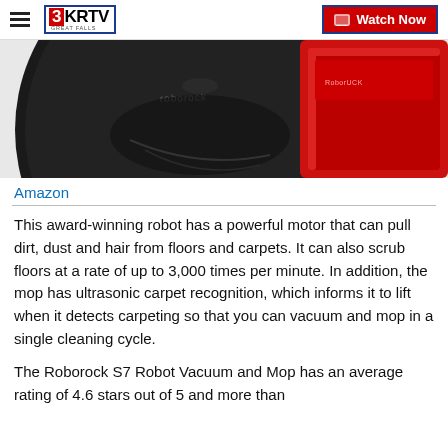3KRTV GREAT FALLS | Watch Now
[Figure (photo): Close-up photo of a Roborock robot vacuum (black, circular) and a red product box partially visible on the right side.]
Amazon
This award-winning robot has a powerful motor that can pull dirt, dust and hair from floors and carpets. It can also scrub floors at a rate of up to 3,000 times per minute. In addition, the mop has ultrasonic carpet recognition, which informs it to lift when it detects carpeting so that you can vacuum and mop in a single cleaning cycle.
The Roborock S7 Robot Vacuum and Mop has an average rating of 4.6 stars out of 5 and more than